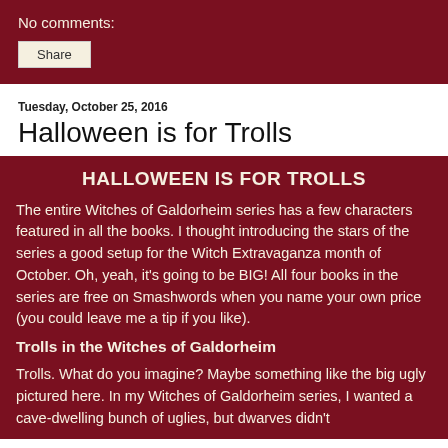No comments:
Share
Tuesday, October 25, 2016
Halloween is for Trolls
HALLOWEEN IS FOR TROLLS
The entire Witches of Galdorheim series has a few characters featured in all the books. I thought introducing the stars of the series a good setup for the Witch Extravaganza month of October. Oh, yeah, it's going to be BIG! All four books in the series are free on Smashwords when you name your own price (you could leave me a tip if you like).
Trolls in the Witches of Galdorheim
Trolls. What do you imagine? Maybe something like the big ugly pictured here. In my Witches of Galdorheim series, I wanted a cave-dwelling bunch of uglies, but dwarves didn't